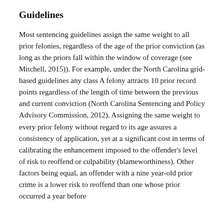Guidelines
Most sentencing guidelines assign the same weight to all prior felonies, regardless of the age of the prior conviction (as long as the priors fall within the window of coverage (see Mitchell, 2015)). For example, under the North Carolina grid-based guidelines any class A felony attracts 10 prior record points regardless of the length of time between the previous and current conviction (North Carolina Sentencing and Policy Advisory Commission, 2012). Assigning the same weight to every prior felony without regard to its age assures a consistency of application, yet at a significant cost in terms of calibrating the enhancement imposed to the offender's level of risk to reoffend or culpability (blameworthiness). Other factors being equal, an offender with a nine year-old prior crime is a lower risk to reoffend than one whose prior occurred a year before